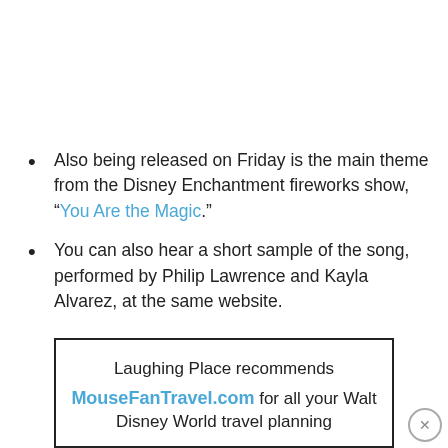Also being released on Friday is the main theme from the Disney Enchantment fireworks show, “You Are the Magic.”
You can also hear a short sample of the song, performed by Philip Lawrence and Kayla Alvarez, at the same website.
Laughing Place recommends MouseFanTravel.com for all your Walt Disney World travel planning